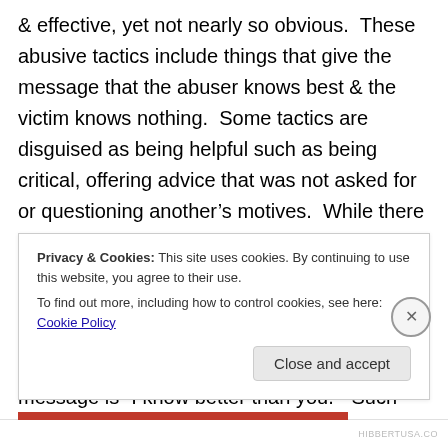& effective, yet not nearly so obvious.  These abusive tactics include things that give the message that the abuser knows best & the victim knows nothing.  Some tactics are disguised as being helpful such as being critical, offering advice that was not asked for or questioning another's motives.  While there are times such things are done as a sincere yet somewhat awkward attempt to help, that is never the case with narcissists.  Such behaviors from them are done to belittle, shame or control a victim.  The underlying message is “I know better than you.”  Such behaviors make a victim feel incredibly
Privacy & Cookies: This site uses cookies. By continuing to use this website, you agree to their use.
To find out more, including how to control cookies, see here: Cookie Policy
Close and accept